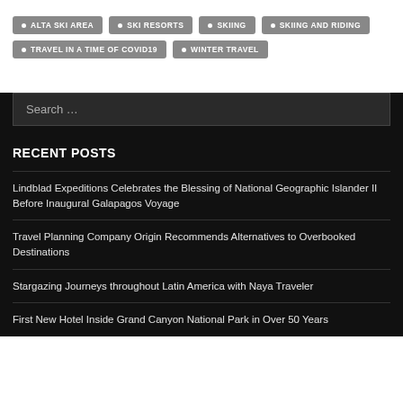ALTA SKI AREA
SKI RESORTS
SKIING
SKIING AND RIDING
TRAVEL IN A TIME OF COVID19
WINTER TRAVEL
RECENT POSTS
Lindblad Expeditions Celebrates the Blessing of National Geographic Islander II Before Inaugural Galapagos Voyage
Travel Planning Company Origin Recommends Alternatives to Overbooked Destinations
Stargazing Journeys throughout Latin America with Naya Traveler
First New Hotel Inside Grand Canyon National Park in Over 50 Years